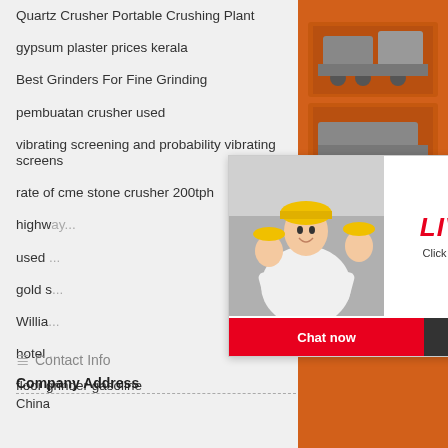Quartz Crusher Portable Crushing Plant
gypsum plaster prices kerala
Best Grinders For Fine Grinding
pembuatan crusher used
vibrating screening and probability vibrating screens
rate of cme stone crusher 200tph
highway [partially obscured]
used [partially obscured]
gold s[partially obscured]
Willia[partially obscured]
hotel [partially obscured]
floor grinder gasoline
Contact Info
Company Address
China
[Figure (screenshot): Live chat popup overlay with a woman in hard hat, red LIVE CHAT text, Click for a Free Consultation, Chat now / Chat later buttons]
[Figure (screenshot): Orange sidebar with machinery images, yellow discount bar saying Enjoy 3% discount / Click to Chat, Enquiry button, and email limingjlmofen@sina.com]